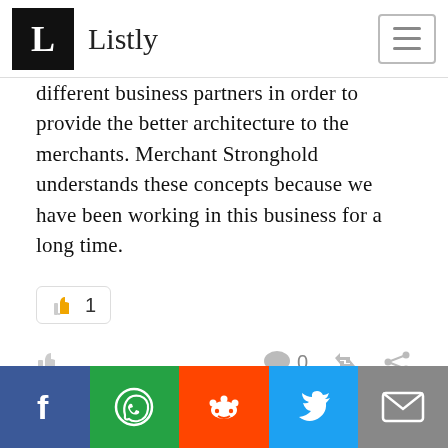Listly
different business partners in order to provide the better architecture to the merchants. Merchant Stronghold understands these concepts because we have been working in this business for a long time.
👍 1
👍  0 🔁 🔗
This website uses cookies to ensure you get the best experience on our website.
Learn more
Got it!